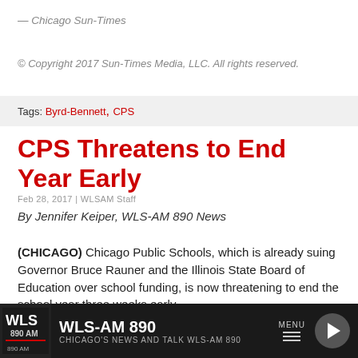— Chicago Sun-Times
© Copyright 2017 Sun-Times Media, LLC. All rights reserved.
Tags: Byrd-Bennett, CPS
CPS Threatens to End Year Early
Feb 28, 2017 | WLSAM Staff
By Jennifer Keiper, WLS-AM 890 News
(CHICAGO) Chicago Public Schools, which is already suing Governor Bruce Rauner and the Illinois State Board of Education over school funding, is now threatening to end the school year three weeks early.
CPS is faced with a huge deficit and an upcoming teacher pension payment. CEO Forrest Claypool says drastic measures will have to be
WLS-AM 890 | CHICAGO'S NEWS AND TALK WLS-AM 890